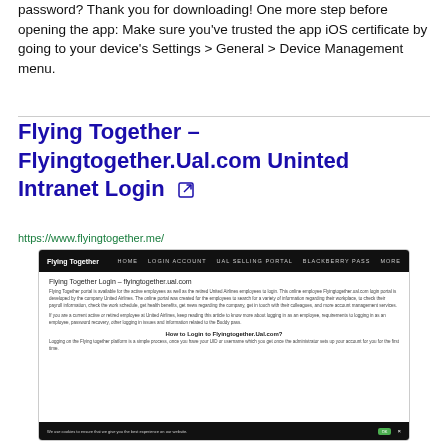password? Thank you for downloading! One more step before opening the app: Make sure you've trusted the app iOS certificate by going to your device's Settings > General > Device Management menu.
Flying Together – Flyingtogether.Ual.com Uninted Intranet Login
https://www.flyingtogether.me/
[Figure (screenshot): Screenshot of flyingtogether.me website showing the Flying Together Login page with navigation bar, article text about the portal, and a cookie consent bar at the bottom.]